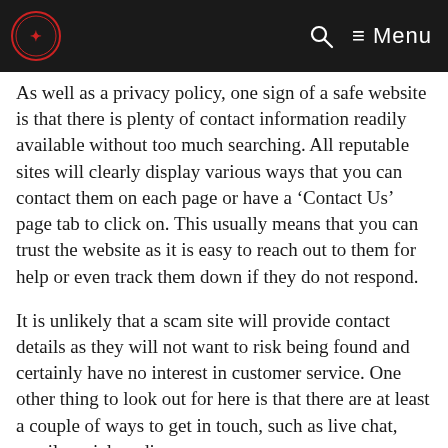Menu
As well as a privacy policy, one sign of a safe website is that there is plenty of contact information readily available without too much searching. All reputable sites will clearly display various ways that you can contact them on each page or have a ‘Contact Us’ page tab to click on. This usually means that you can trust the website as it is easy to reach out to them for help or even track them down if they do not respond.
It is unlikely that a scam site will provide contact details as they will not want to risk being found and certainly have no interest in customer service. One other thing to look out for here is that there are at least a couple of ways to get in touch, such as live chat, email, social media,